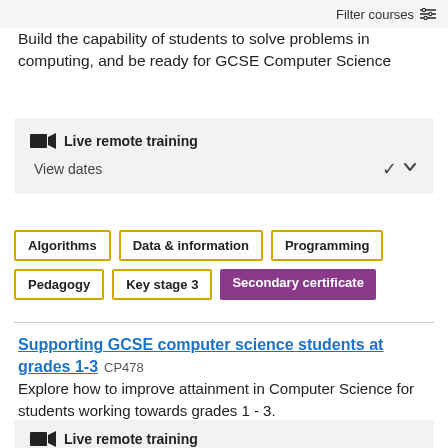Filter courses
Build the capability of students to solve problems in computing, and be ready for GCSE Computer Science
Live remote training
View dates
Algorithms
Data & information
Programming
Pedagogy
Key stage 3
Secondary certificate
Supporting GCSE computer science students at grades 1-3  CP478
Explore how to improve attainment in Computer Science for students working towards grades 1 - 3.
Live remote training
View dates